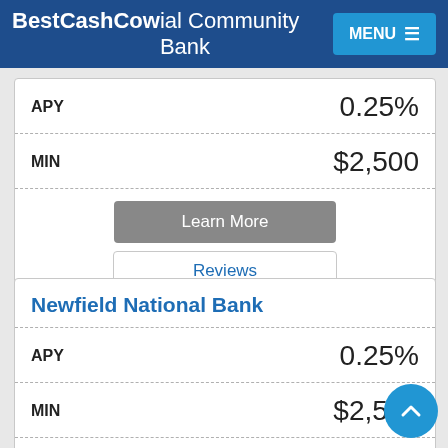BestCashCow ial Community Bank MENU
| Field | Value |
| --- | --- |
| APY | 0.25% |
| MIN | $2,500 |
Learn More
Reviews
Newfield National Bank
| Field | Value |
| --- | --- |
| APY | 0.25% |
| MIN | $2,500 |
Learn More